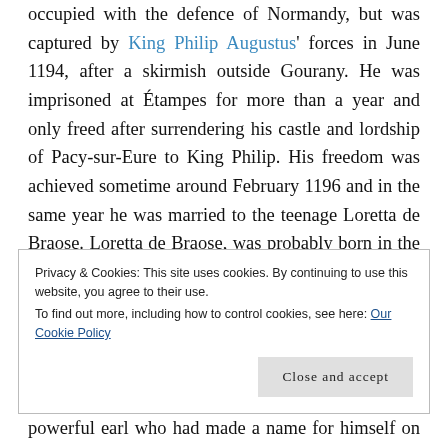occupied with the defence of Normandy, but was captured by King Philip Augustus' forces in June 1194, after a skirmish outside Gourany. He was imprisoned at Étampes for more than a year and only freed after surrendering his castle and lordship of Pacy-sur-Eure to King Philip. His freedom was achieved sometime around February 1196 and in the same year he was married to the teenage Loretta de Braose. Loretta de Braose, was probably born in the early-to-mid-1180s,. She was one of the sixteen children of Matilda and William de Braose. Four of her sisters married prominent Welsh Marcher lords, but Loretta was married to Robert de Breteuil, 4th earl of
Privacy & Cookies: This site uses cookies. By continuing to use this website, you agree to their use.
To find out more, including how to control cookies, see here: Our Cookie Policy
Close and accept
powerful earl who had made a name for himself on the